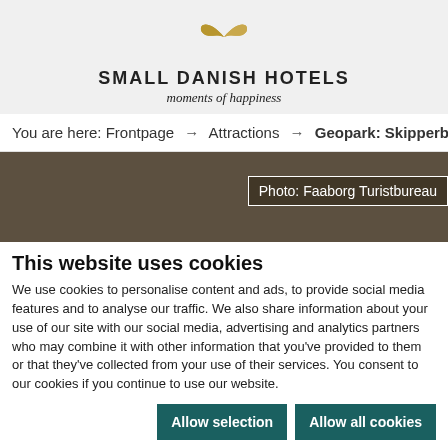[Figure (logo): Small Danish Hotels logo: golden pinwheel/flower icon above text 'SMALL DANISH HOTELS' and italic tagline 'moments of happiness']
You are here: Frontpage → Attractions → Geopark: Skipperbye
[Figure (photo): Dark brown/olive toned banner image with a photo credit box reading 'Photo: Faaborg Turistbureau']
This website uses cookies
We use cookies to personalise content and ads, to provide social media features and to analyse our traffic. We also share information about your use of our site with our social media, advertising and analytics partners who may combine it with other information that you've provided to them or that they've collected from your use of their services. You consent to our cookies if you continue to use our website.
Allow selection | Allow all cookies
☑ Necessary  ✓ Preferences  ✓ Statistics  ✓ Marketing  Show details ▾